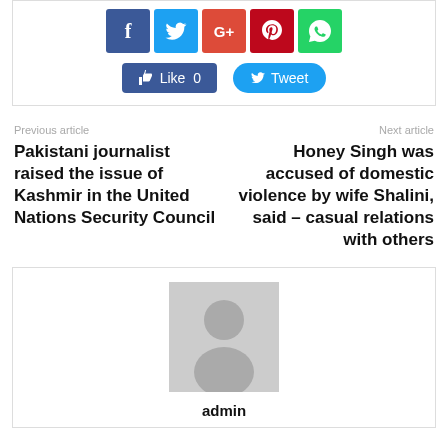[Figure (screenshot): Social media share buttons: Facebook, Twitter, Google+, Pinterest, WhatsApp icons and Like/Tweet buttons]
Previous article
Next article
Pakistani journalist raised the issue of Kashmir in the United Nations Security Council
Honey Singh was accused of domestic violence by wife Shalini, said – casual relations with others
[Figure (illustration): Generic admin user avatar placeholder image (gray silhouette of a person)]
admin